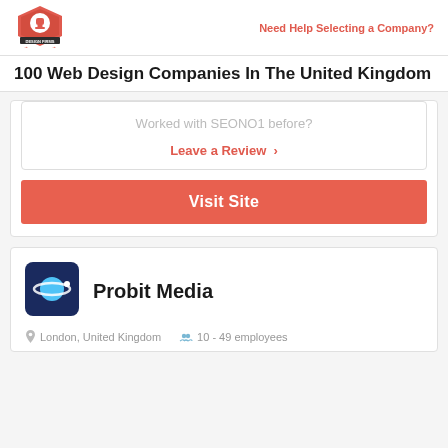Top Design Firms | Need Help Selecting a Company?
100 Web Design Companies In The United Kingdom
Worked with SEONO1 before?
Leave a Review >
Visit Site
Probit Media
London, United Kingdom   10 - 49 employees